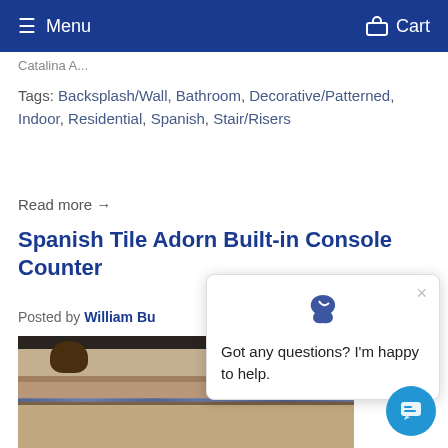Menu   Cart
Catalina A...
Tags: Backsplash/Wall, Bathroom, Decorative/Patterned, Indoor, Residential, Spanish, Stair/Risers
Read more →
Spanish Tile Adorn Built-in Console Counter
Posted by William Bu...
[Figure (photo): Photo of a built-in console counter with Spanish tile inlay, a woven basket on top, dark upper cabinet visible]
[Figure (screenshot): Chat popup with logo icon asking 'Got any questions? I'm happy to help.' with a close X button]